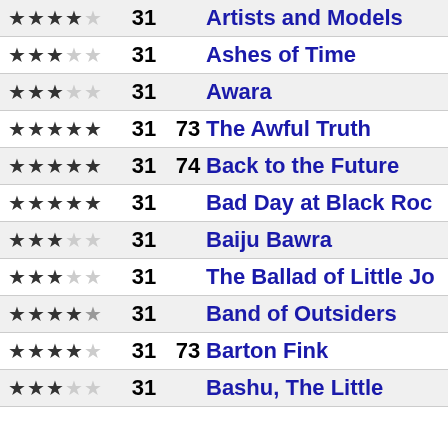| Stars | Num1 | Num2 | Title |
| --- | --- | --- | --- |
| ★★★★☆ | 31 |  | Artists and Models |
| ★★★☆☆ | 31 |  | Ashes of Time |
| ★★★☆☆ | 31 |  | Awara |
| ★★★★★ | 31 | 73 | The Awful Truth |
| ★★★★★ | 31 | 74 | Back to the Future |
| ★★★★★ | 31 |  | Bad Day at Black Rock |
| ★★★☆☆ | 31 |  | Baiju Bawra |
| ★★★☆☆ | 31 |  | The Ballad of Little Jo |
| ★★★★☆ | 31 |  | Band of Outsiders |
| ★★★★☆ | 31 | 73 | Barton Fink |
| ★★★☆☆ | 31 |  | Bashu, The Little |